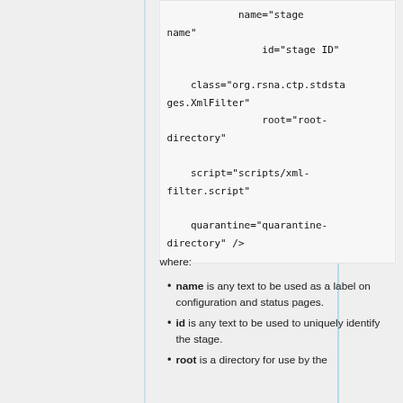[Figure (screenshot): Code block showing XML configuration snippet with attributes: name='stage name', id='stage ID', class='org.rsna.ctp.stdstages.XmlFilter', root='root-directory', script='scripts/xml-filter.script', quarantine='quarantine-directory' />]
where:
name is any text to be used as a label on configuration and status pages.
id is any text to be used to uniquely identify the stage.
root is a directory for use by the